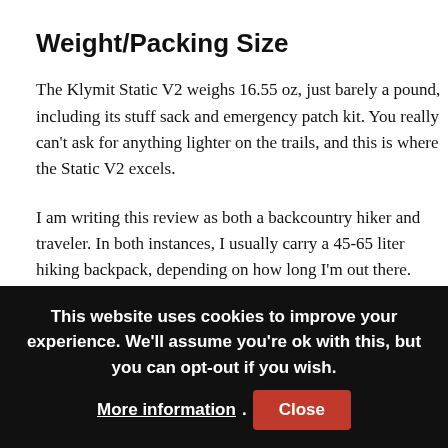Weight/Packing Size
The Klymit Static V2 weighs 16.55 oz, just barely a pound, including its stuff sack and emergency patch kit. You really can't ask for anything lighter on the trails, and this is where the Static V2 excels.
I am writing this review as both a backcountry hiker and traveler. In both instances, I usually carry a 45-65 liter hiking backpack, depending on how long I'm out there.
As they say in the hiking world, ounces equal pounds and pounds equal pain. Every ounce and inch truly matter when
This website uses cookies to improve your experience. We'll assume you're ok with this, but you can opt-out if you wish. More information. Close